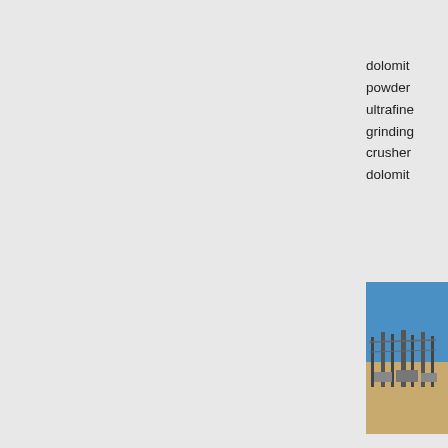dolomit
powder
ultrafine
grinding
crusher
dolomit
[Figure (photo): Outdoor industrial mining or construction site with metal structures under blue sky]
dolomit more
dolomit
miningb
Mining